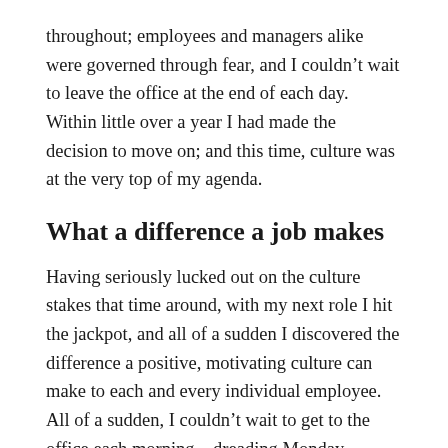throughout; employees and managers alike were governed through fear, and I couldn't wait to leave the office at the end of each day. Within little over a year I had made the decision to move on; and this time, culture was at the very top of my agenda.
What a difference a job makes
Having seriously lucked out on the culture stakes that time around, with my next role I hit the jackpot, and all of a sudden I discovered the difference a positive, motivating culture can make to each and every individual employee. All of a sudden, I couldn't wait to get to the office each morning – dreading Monday mornings was a thing of the past. I felt empowered to